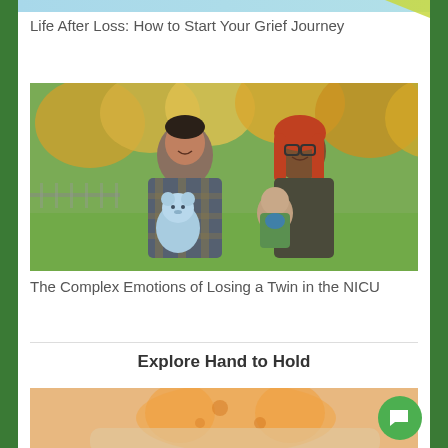Life After Loss: How to Start Your Grief Journey
[Figure (photo): A couple smiling outdoors in autumn, the man holding a light blue stuffed bear and the woman holding a baby in a green outfit, with fall foliage in the background.]
The Complex Emotions of Losing a Twin in the NICU
Explore Hand to Hold
[Figure (photo): Person holding a large orange stuffed animal toy, partially visible at the bottom of the page.]